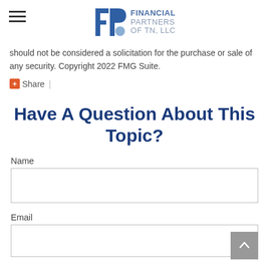Financial Partners of TN, LLC
should not be considered a solicitation for the purchase or sale of any security. Copyright 2022 FMG Suite.
Share |
Have A Question About This Topic?
Name
Email